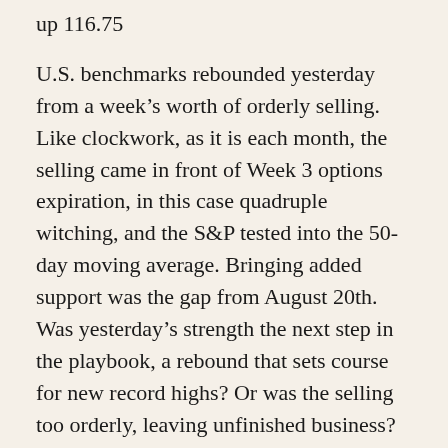up 116.75
U.S. benchmarks rebounded yesterday from a week’s worth of orderly selling. Like clockwork, as it is each month, the selling came in front of Week 3 options expiration, in this case quadruple witching, and the S&P tested into the 50-day moving average. Bringing added support was the gap from August 20th. Was yesterday’s strength the next step in the playbook, a rebound that sets course for new record highs? Or was the selling too orderly, leaving unfinished business?
Next week’s Fed meeting and deadlines in Washington are also at the forefront. Yesterday, the House Ways and Means committee approved $2.1 trillion worth of new taxes. However, President Biden’s $4 trillion